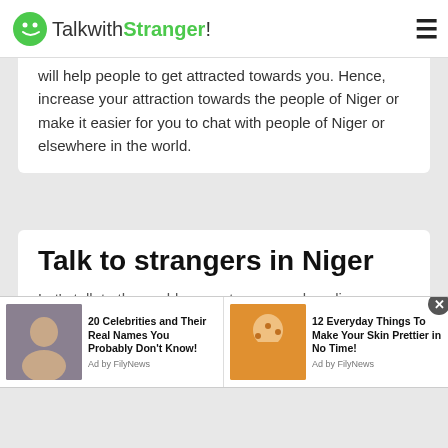TalkwithStranger!
will help people to get attracted towards you. Hence, increase your attraction towards the people of Niger or make it easier for you to chat with people of Niger or elsewhere in the world.
Talk to strangers in Niger
Let's talk to the world or meet new people online
The use of online chat apps and social media apps
[Figure (screenshot): Advertisement bar with two sponsored items: '20 Celebrities and Their Real Names You Probably Don't Know!' with photo of Oprah Winfrey, and '12 Everyday Things To Make Your Skin Prettier in No Time!' with photo of woman with face mask, both labeled Ad by FilyNews]